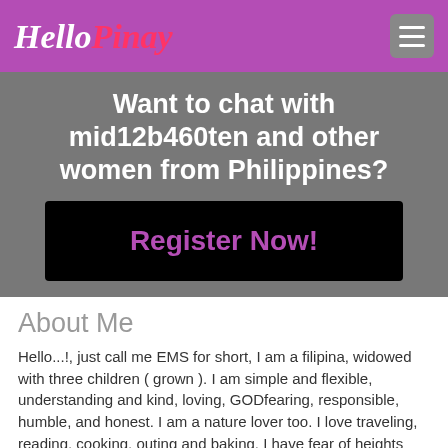HelloPinay
Want to chat with mid12b460ten and other women from Philippines?
Register Now!
About Me
Hello...!, just call me EMS for short, I am a filipina, widowed with three children ( grown ). I am simple and flexible, understanding and kind, loving, GODfearing, responsible, humble, and honest. I am a nature lover too. I love traveling, reading, cooking, outing and baking. I have fear of heights and closetrophobia., I enjoyed eating fish, white meat, fruits, and vegetables.